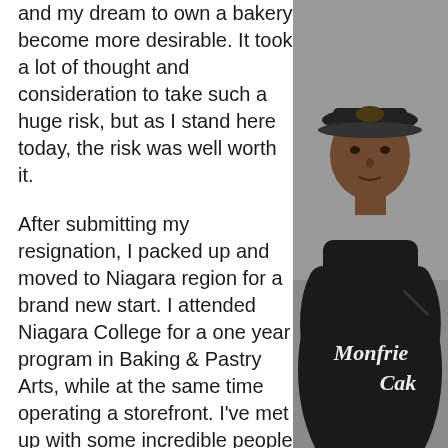and my dream to own a bakery become more desirable. It took a lot of thought and consideration to take such a huge risk, but as I stand here today, the risk was well worth it.

After submitting my resignation, I packed up and moved to Niagara region for a brand new start. I attended Niagara College for a one year program in Baking & Pastry Arts, while at the same time operating a storefront. I've met up with some incredible people in Niagara region, but on top of the list are the staff at Spark Niagara. Words cannot express how grateful I am for their guidance, expertise and providing a space for me to sell my rum cakes. And now, I am a proud owner of Monfriese Rum Cakes Bakery Cafe, located in downtown...
[Figure (photo): A woman wearing a black chef's uniform and a dark cap with a logo, arms crossed, looking at the camera. Text overlay reads 'Monfrie Cak' in white script (partially cropped). Gray studio background.]